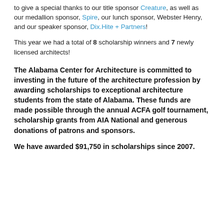to give a special thanks to our title sponsor Creature, as well as our medallion sponsor, Spire, our lunch sponsor, Webster Henry, and our speaker sponsor, Dix.Hite + Partners!
This year we had a total of 8 scholarship winners and 7 newly licensed architects!
The Alabama Center for Architecture is committed to investing in the future of the architecture profession by awarding scholarships to exceptional architecture students from the state of Alabama. These funds are made possible through the annual ACFA golf tournament, scholarship grants from AIA National and generous donations of patrons and sponsors.
We have awarded $91,750 in scholarships since 2007.